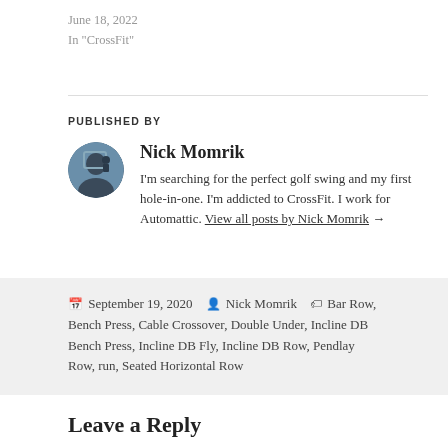June 18, 2022
In "CrossFit"
PUBLISHED BY
[Figure (photo): Circular avatar photo of Nick Momrik]
Nick Momrik
I'm searching for the perfect golf swing and my first hole-in-one. I'm addicted to CrossFit. I work for Automattic. View all posts by Nick Momrik →
September 19, 2020  Nick Momrik  Bar Row, Bench Press, Cable Crossover, Double Under, Incline DB Bench Press, Incline DB Fly, Incline DB Row, Pendlay Row, run, Seated Horizontal Row
Leave a Reply